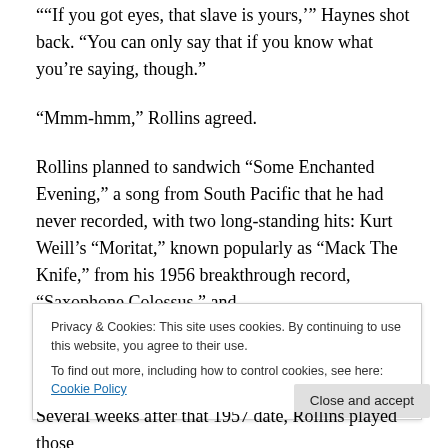““If you got eyes, that slave is yours,’” Haynes shot back. “You can only say that if you know what you’re saying, though.”
“Mmm-hmm,” Rollins agreed.
Rollins planned to sandwich “Some Enchanted Evening,” a song from South Pacific that he had never recorded, with two long-standing hits: Kurt Weill’s “Moritat,” known popularly as “Mack The Knife,” from his 1956 breakthrough record, “Saxophone Colossus,” and
Privacy & Cookies: This site uses cookies. By continuing to use this website, you agree to their use.
To find out more, including how to control cookies, see here: Cookie Policy
Several weeks after that 1957 date, Rollins played those